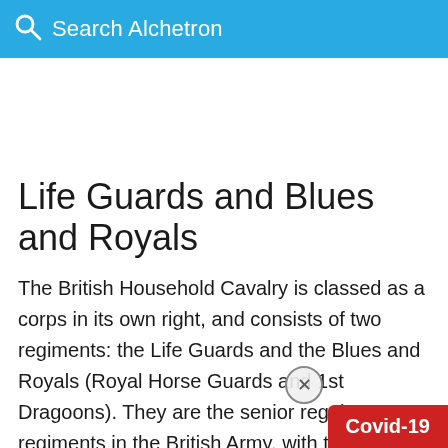Search Alchetron
Life Guards and Blues and Royals
The British Household Cavalry is classed as a corps in its own right, and consists of two regiments: the Life Guards and the Blues and Royals (Royal Horse Guards and 1st Dragoons). They are the senior regular regiments in the British Army, with traditions dating from 1660, and act as the Queen's personal bodyguard. They are guards regiments and, with the five foot guard re...